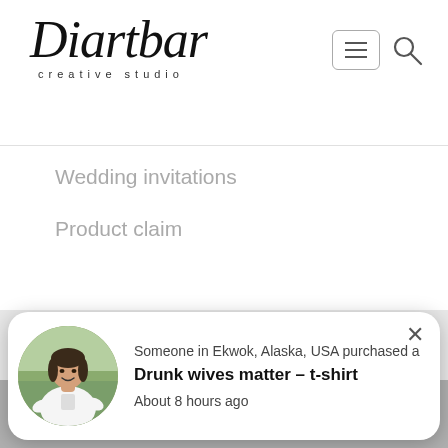[Figure (logo): Diartbar creative studio logo in script/handwritten font with heart above the i]
[Figure (other): Hamburger menu button (three horizontal lines) and search/magnifier icon in top right header]
Wedding invitations
Product claim
© Diartbar.com 2022 All rights reserved
[Figure (other): Dark gray decorative typography band below footer]
[Figure (other): Popup notification with circular photo of a woman wearing a t-shirt]
Someone in Ekwok, Alaska, USA purchased a
Drunk wives matter – t-shirt
About 8 hours ago